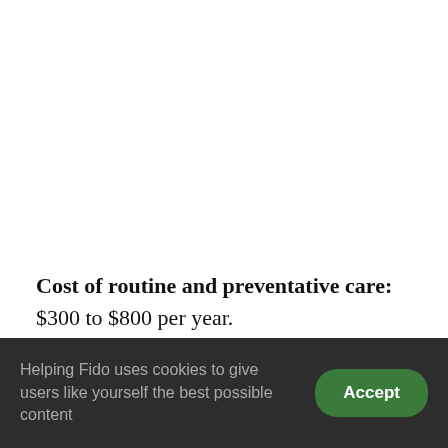Cost of routine and preventative care: $300 to $800 per year.
Cost of pet insurance: $200 to $840 per year
Helping Fido uses cookies to give users like yourself the best possible content
Accept